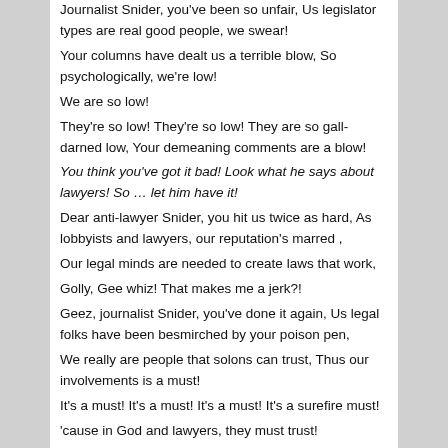Journalist Snider, you've been so unfair, Us legislator types are real good people, we swear! Your columns have dealt us a terrible blow, So psychologically, we're low! We are so low! They're so low! They're so low! They are so gall-darned low, Your demeaning comments are a blow! You think you've got it bad! Look what he says about lawyers! So … let him have it! Dear anti-lawyer Snider, you hit us twice as hard, As lobbyists and lawyers, our reputation's marred , Our legal minds are needed to create laws that work, Golly, Gee whiz! That makes me a jerk?! Geez, journalist Snider, you've done it again, Us legal folks have been besmirched by your poison pen, We really are people that solons can trust, Thus our involvements is a must! It's a must! It's a must! It's a must! It's a surefire must! 'cause in God and lawyers, they must trust! You seem to think we're crazy! You seem to think we drink! You seem to think we're lazy! You seem to think we stink!